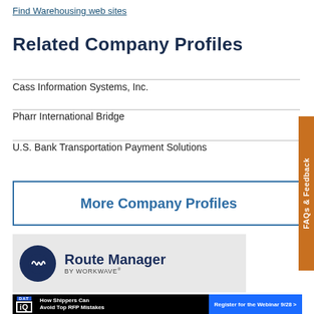Find Warehousing web sites
Related Company Profiles
Cass Information Systems, Inc.
Pharr International Bridge
U.S. Bank Transportation Payment Solutions
More Company Profiles
[Figure (other): Route Manager by WORKWAVE advertisement banner with logo on light gray background]
[Figure (other): DAT iQ advertisement: How Shippers Can Avoid Top RFP Mistakes - Register for the Webinar 9/28]